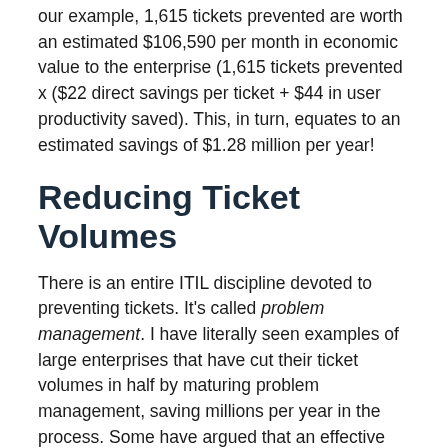our example, 1,615 tickets prevented are worth an estimated $106,590 per month in economic value to the enterprise (1,615 tickets prevented x ($22 direct savings per ticket + $44 in user productivity saved). This, in turn, equates to an estimated savings of $1.28 million per year!
Reducing Ticket Volumes
There is an entire ITIL discipline devoted to preventing tickets. It's called problem management. I have literally seen examples of large enterprises that have cut their ticket volumes in half by maturing problem management, saving millions per year in the process. Some have argued that an effective self-help portal can also reduce ticket volumes. While self-help can reduce the number of agent-assisted tickets, it is debatable whether it returns productive time to the end-user. As a general rule of thumb, a user should not be spending more than 10 minutes at a time in the self-help portal. Any more than